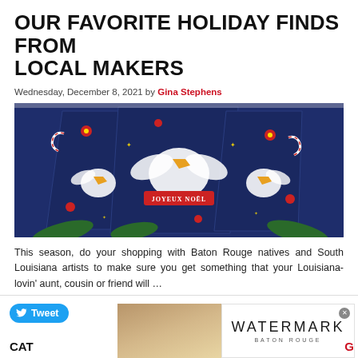OUR FAVORITE HOLIDAY FINDS FROM LOCAL MAKERS
Wednesday, December 8, 2021 by Gina Stephens
[Figure (photo): Holiday-themed Louisiana state flag bandanas or cards with pelicans, red flowers, candy canes, and 'JOYEUX NOËL' text on dark blue background]
This season, do your shopping with Baton Rouge natives and South Louisiana artists to make sure you get something that your Louisiana-lovin' aunt, cousin or friend will …
COMMENTS | CONTINUE READING »
[Figure (screenshot): Bottom bar with Tweet button, Watermark Baton Rouge advertisement, CAT label and G label]